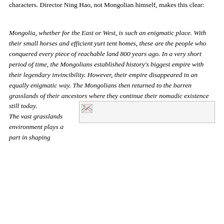characters. Director Ning Hao, not Mongolian himself, makes this clear:
Mongolia, whether for the East or West, is such an enigmatic place. With their small horses and efficient yurt tent homes, these are the people who conquered every piece of reachable land 800 years ago. In a very short period of time, the Mongolians established history's biggest empire with their legendary invincibility. However, their empire disappeared in an equally enigmatic way. The Mongolians then returned to the barren grasslands of their ancestors where they continue their nomadic existence still today. The vast grasslands environment plays a part in shaping
[Figure (photo): A placeholder image icon with broken image symbol, shown inline with the text about Mongolians returning to grasslands.]